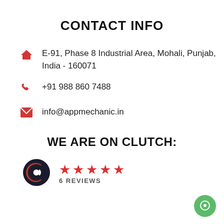CONTACT INFO
E-91, Phase 8 Industrial Area, Mohali, Punjab, India - 160071
+91 988 860 7488
info@appmechanic.in
WE ARE ON CLUTCH:
[Figure (logo): Clutch logo (dark C shape) with 5 red stars and '6 REVIEWS' text below]
[Figure (illustration): Green circle chat bubble button in bottom right corner]